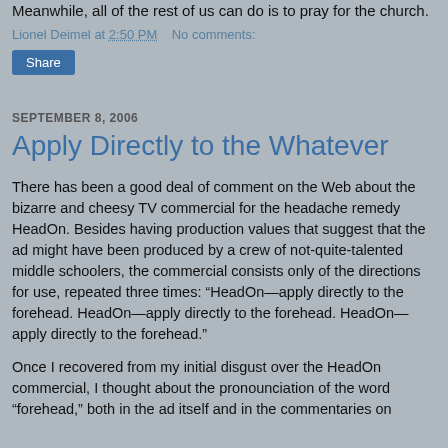Meanwhile, all of the rest of us can do is to pray for the church.
Lionel Deimel at 2:50 PM   No comments:
Share
SEPTEMBER 8, 2006
Apply Directly to the Whatever
There has been a good deal of comment on the Web about the bizarre and cheesy TV commercial for the headache remedy HeadOn. Besides having production values that suggest that the ad might have been produced by a crew of not-quite-talented middle schoolers, the commercial consists only of the directions for use, repeated three times: “HeadOn—apply directly to the forehead. HeadOn—apply directly to the forehead. HeadOn—apply directly to the forehead.”
Once I recovered from my initial disgust over the HeadOn commercial, I thought about the pronounciation of the word “forehead,” both in the ad itself and in the commentaries on